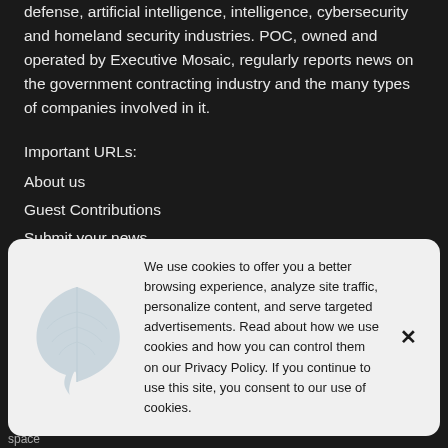defense, artificial intelligence, intelligence, cybersecurity and homeland security industries. POC, owned and operated by Executive Mosaic, regularly reports news on the government contracting industry and the many types of companies involved in it.
Important URLs:
About us
Guest Contributions
Submit your news
We use cookies to offer you a better browsing experience, analyze site traffic, personalize content, and serve targeted advertisements. Read about how we use cookies and how you can control them on our Privacy Policy. If you continue to use this site, you consent to our use of cookies.
space